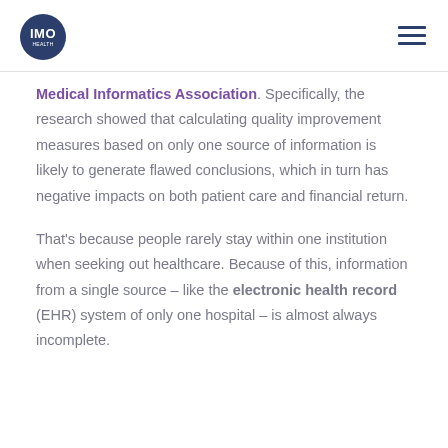IMO logo and navigation
Medical Informatics Association. Specifically, the research showed that calculating quality improvement measures based on only one source of information is likely to generate flawed conclusions, which in turn has negative impacts on both patient care and financial return.
That's because people rarely stay within one institution when seeking out healthcare. Because of this, information from a single source – like the electronic health record (EHR) system of only one hospital – is almost always incomplete.